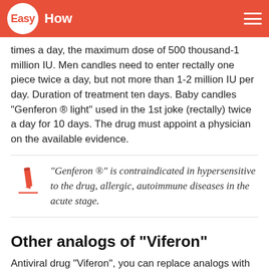EasyHow
times a day, the maximum dose of 500 thousand-1 million IU. Men candles need to enter rectally one piece twice a day, but not more than 1-2 million IU per day. Duration of treatment ten days. Baby candles "Genferon ® light" used in the 1st joke (rectally) twice a day for 10 days. The drug must appoint a physician on the available evidence.
"Genferon ®" is contraindicated in hypersensitive to the drug, allergic, autoimmune diseases in the acute stage.
Other analogs of "Viferon"
Antiviral drug "Viferon", you can replace analogs with different dosage form – tablet, capsule,